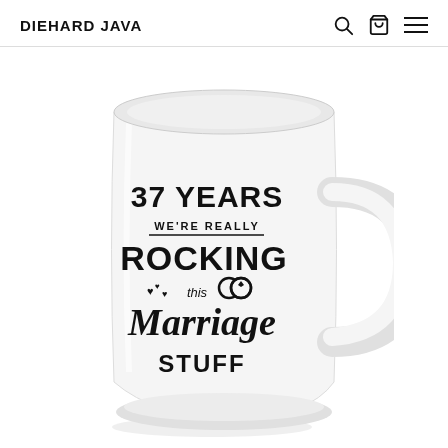DIEHARD JAVA
[Figure (photo): White ceramic coffee mug with black text reading '37 YEARS WE'RE REALLY ROCKING THIS Marriage STUFF' with decorative hearts and wedding rings graphic. The mug has a handle on the right side.]